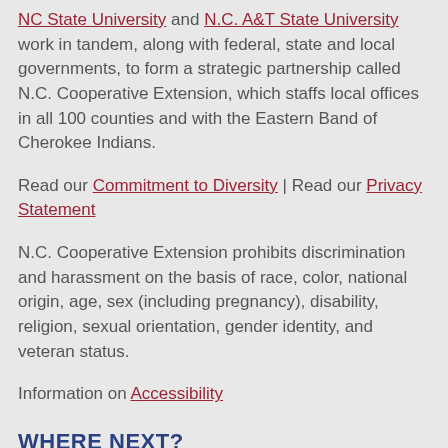NC State University and N.C. A&T State University work in tandem, along with federal, state and local governments, to form a strategic partnership called N.C. Cooperative Extension, which staffs local offices in all 100 counties and with the Eastern Band of Cherokee Indians.
Read our Commitment to Diversity | Read our Privacy Statement
N.C. Cooperative Extension prohibits discrimination and harassment on the basis of race, color, national origin, age, sex (including pregnancy), disability, religion, sexual orientation, gender identity, and veteran status.
Information on Accessibility
WHERE NEXT?
About Extension